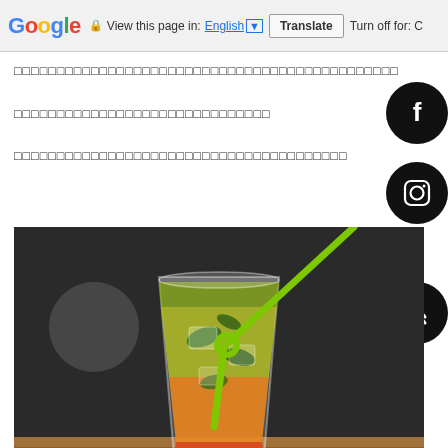Google  View this page in: English [▼]  Translate  Turn off for: C
□□□□□□□□□□□□□□□□□□□□□□□□□□□□□□□□□□□□□□□□□□
□□□□□□□□□□□□□□□□□□□□□□□□□□□
□□□□□□□□□□□□□□□□□□□□□□□□□□□□□□□□□□
[Figure (photo): A cold drink in a glass with a green novelty straw (shaped like a sword/cross), containing what appears to be a layered iced tea or cocktail with mint leaves, gradient from orange/red at bottom to yellow-green at top, on a wooden surface with dark blurred background.]